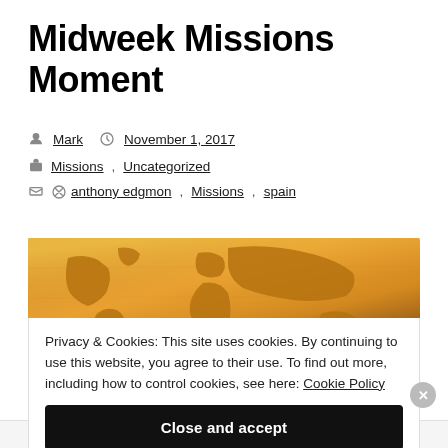Midweek Missions Moment
Mark  November 1, 2017
Missions, Uncategorized
anthony edgmon, Missions, spain
[Figure (photo): A world map with golden/sepia tones on aged parchment background]
Privacy & Cookies: This site uses cookies. By continuing to use this website, you agree to their use. To find out more, including how to control cookies, see here: Cookie Policy
Close and accept